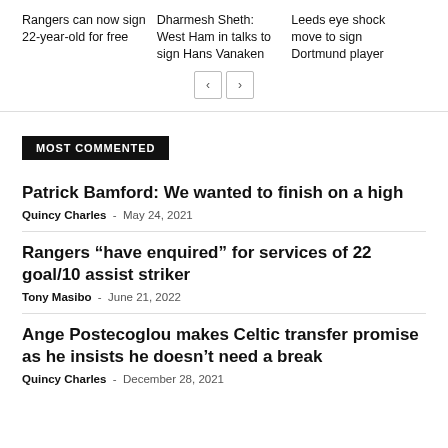Rangers can now sign 22-year-old for free
Dharmesh Sheth: West Ham in talks to sign Hans Vanaken
Leeds eye shock move to sign Dortmund player
MOST COMMENTED
Patrick Bamford: We wanted to finish on a high
Quincy Charles - May 24, 2021
Rangers “have enquired” for services of 22 goal/10 assist striker
Tony Masibo - June 21, 2022
Ange Postecoglou makes Celtic transfer promise as he insists he doesn’t need a break
Quincy Charles - December 28, 2021